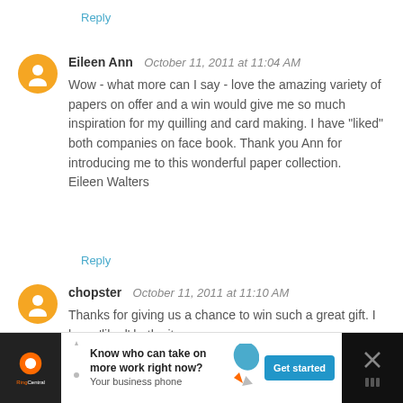Reply
Eileen Ann  October 11, 2011 at 11:04 AM
Wow - what more can I say - love the amazing variety of papers on offer and a win would give me so much inspiration for my quilling and card making. I have "liked" both companies on face book. Thank you Ann for introducing me to this wonderful paper collection.
Eileen Walters
Reply
chopster  October 11, 2011 at 11:10 AM
Thanks for giving us a chance to win such a great gift. I have 'liked' both sites..
tinachopee@gmail.com
Reply
[Figure (infographic): RingCentral advertisement banner: 'Know who can take on more work right now? Your business phone' with Get started button]